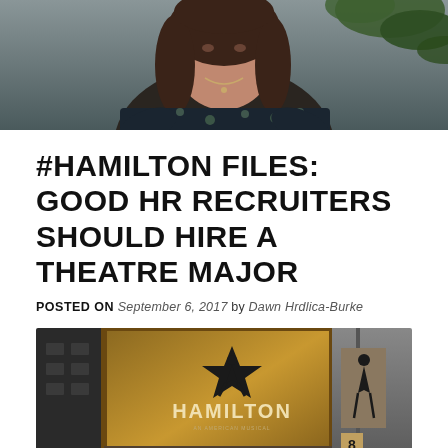[Figure (photo): Portrait photo of a woman with dark brown hair wearing a dark floral dress, seated with a plant visible in the background]
#HAMILTON FILES: GOOD HR RECRUITERS SHOULD HIRE A THEATRE MAJOR
POSTED ON September 6, 2017 by Dawn Hrdlica-Burke
[Figure (photo): Photo of the Hamilton musical marquee/signage showing the iconic star logo with 'HAMILTON' text on a golden background, with a second image on the right showing a silhouetted figure poster]